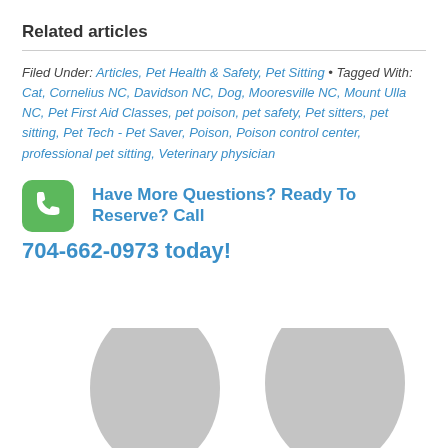Related articles
Filed Under: Articles, Pet Health & Safety, Pet Sitting • Tagged With: Cat, Cornelius NC, Davidson NC, Dog, Mooresville NC, Mount Ulla NC, Pet First Aid Classes, pet poison, pet safety, Pet sitters, pet sitting, Pet Tech - Pet Saver, Poison, Poison control center, professional pet sitting, Veterinary physician
Have More Questions? Ready To Reserve? Call 704-662-0973 today!
[Figure (illustration): Partial avatar/profile image placeholder showing two gray oval shapes at the bottom of the page]